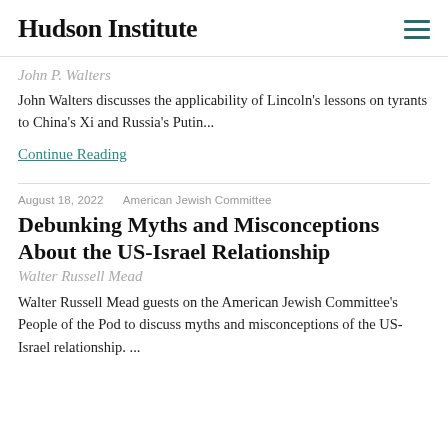Hudson Institute
John P. Walters
John Walters discusses the applicability of Lincoln's lessons on tyrants to China's Xi and Russia's Putin...
Continue Reading
August 18, 2022  American Jewish Committee
Debunking Myths and Misconceptions About the US-Israel Relationship
Walter Russell Mead
Walter Russell Mead guests on the American Jewish Committee's People of the Pod to discuss myths and misconceptions of the US-Israel relationship. ...